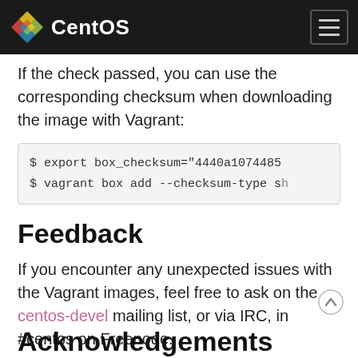CentOS
If the check passed, you can use the corresponding checksum when downloading the image with Vagrant:
Feedback
If you encounter any unexpected issues with the Vagrant images, feel free to ask on the centos-devel mailing list, or via IRC, in #centos on Freenode.
Acknowledgements